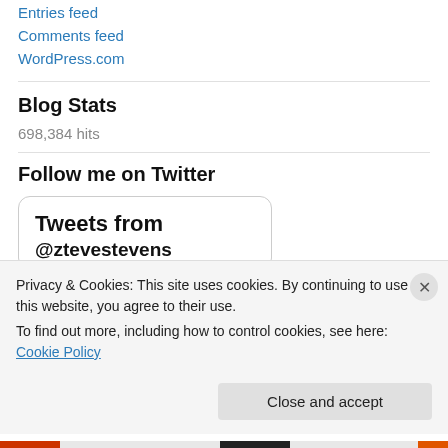Entries feed
Comments feed
WordPress.com
Blog Stats
698,384 hits
Follow me on Twitter
[Figure (screenshot): Twitter widget box showing 'Tweets from @ztevestevens']
Privacy & Cookies: This site uses cookies. By continuing to use this website, you agree to their use.
To find out more, including how to control cookies, see here: Cookie Policy
Close and accept